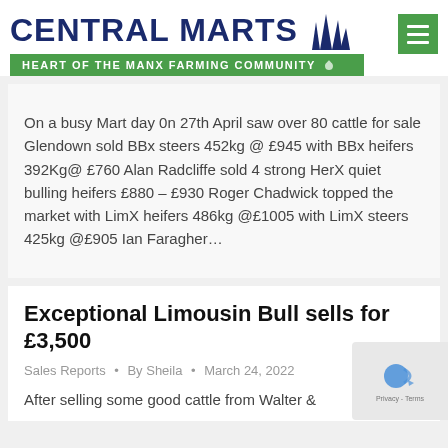CENTRAL MARTS — HEART OF THE MANX FARMING COMMUNITY
On a busy Mart day 0n 27th April saw over 80 cattle for sale Glendown sold BBx steers 452kg @ £945 with BBx heifers 392Kg@ £760 Alan Radcliffe sold 4 strong HerX quiet bulling heifers £880 – £930 Roger Chadwick topped the market with LimX heifers 486kg @£1005 with LimX steers 425kg @£905 Ian Faragher…
Exceptional Limousin Bull sells for £3,500
Sales Reports • By Sheila • March 24, 2022
After selling some good cattle from Walter &